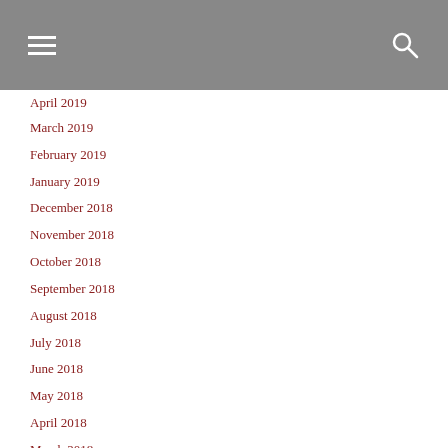Navigation header with hamburger menu and search icon
March 2019
February 2019
January 2019
December 2018
November 2018
October 2018
September 2018
August 2018
July 2018
June 2018
May 2018
April 2018
March 2018
February 2018
January 2018
December 2017